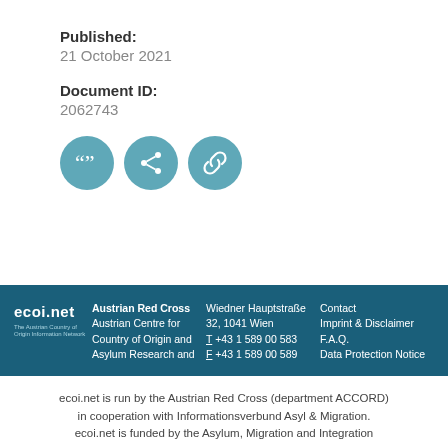Published:
21 October 2021
Document ID:
2062743
[Figure (infographic): Three teal circular icon buttons: quote/cite icon, share icon, and link/chain icon]
ecoi.net | Austrian Red Cross | Austrian Centre for Country of Origin and Asylum Research and | Wiedner Hauptstraße 32, 1041 Wien T +43 1 589 00 583 F +43 1 589 00 589 | Contact Imprint & Disclaimer F.A.Q. Data Protection Notice
ecoi.net is run by the Austrian Red Cross (department ACCORD) in cooperation with Informationsverbund Asyl & Migration. ecoi.net is funded by the Asylum, Migration and Integration